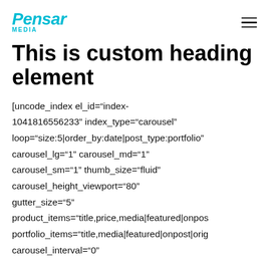Pensar MEDIA
This is custom heading element
[uncode_index el_id="index-1041816556233" index_type="carousel" loop="size:5|order_by:date|post_type:portfolio" carousel_lg="1" carousel_md="1" carousel_sm="1" thumb_size="fluid" carousel_height_viewport="80" gutter_size="5" product_items="title,price,media|featured|onpost" portfolio_items="title,media|featured|onpost|orig carousel_interval="0"